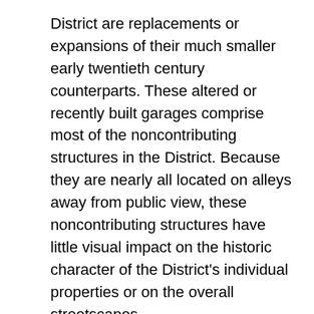District are replacements or expansions of their much smaller early twentieth century counterparts. These altered or recently built garages comprise most of the noncontributing structures in the District. Because they are nearly all located on alleys away from public view, these noncontributing structures have little visual impact on the historic character of the District's individual properties or on the overall streetscapes.
Two of Alexandria's oldest extant residences, the Stevens House (circa 1868) and the Sims House (circa 1876), are located within northern part of the District close to Lakes Winona and Agnes. Standing near the Stevens and Sims houses are Alexandria's only three remaining Victorian-era mansion houses with exposed exterior brick walls, the Francis B. Van Hoesen House (1883), the S. W. McEwan House (circa 1885), and the O. J. Robards House (1889). Surrounding these houses in the northern half of the